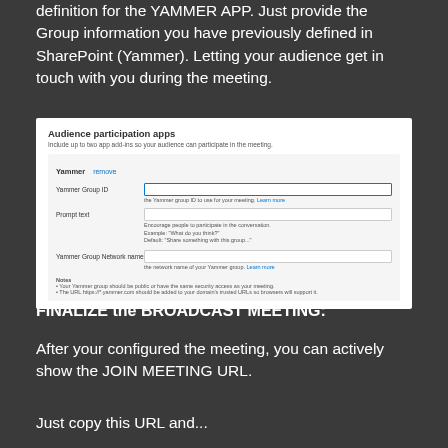definition for the YAMMER APP. Just provide the Group information you have previously defined in SharePoint (Yammer). Letting your audience get in touch with you during the meeting.
[Figure (screenshot): Screenshot of Audience participation apps form showing Yammer configuration fields including Yammer Group ID, Prompt text, and Yammer Group Network name with input fields and helper text]
FINALIZE the BROADCAST MEETING:
After your configured the meeting, you can actively show the JOIN MEETING URL.
Just copy this URL and...